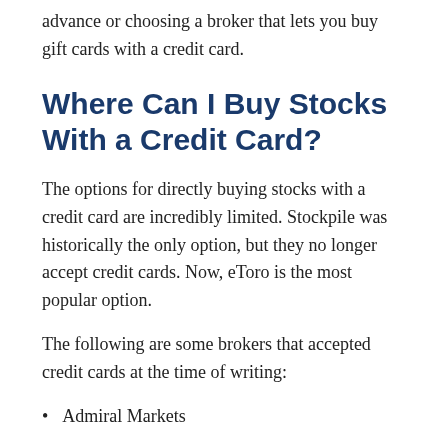advance or choosing a broker that lets you buy gift cards with a credit card.
Where Can I Buy Stocks With a Credit Card?
The options for directly buying stocks with a credit card are incredibly limited. Stockpile was historically the only option, but they no longer accept credit cards. Now, eToro is the most popular option.
The following are some brokers that accepted credit cards at the time of writing:
Admiral Markets